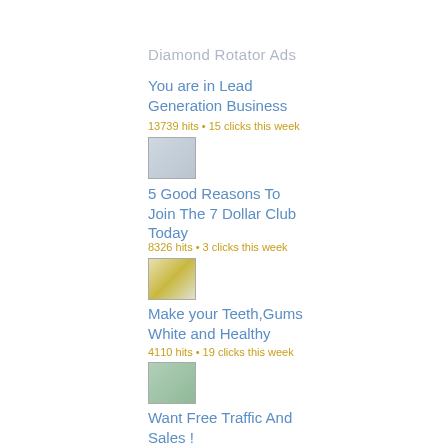Diamond Rotator Ads
You are in Lead Generation Business
13739 hits • 15 clicks this week
[Figure (photo): Small thumbnail image for ad 1]
5 Good Reasons To Join The 7 Dollar Club Today
8326 hits • 3 clicks this week
[Figure (photo): Small thumbnail image for ad 2]
Make your Teeth,Gums White and Healthy
4110 hits • 19 clicks this week
[Figure (photo): Small thumbnail image for ad 3]
Want Free Traffic And Sales !
3884 hits • 4 clicks this week
[Figure (photo): Small thumbnail image for ad 4]
World's Largest [FREE] Ad Stream Board- Generate Sales NOW!